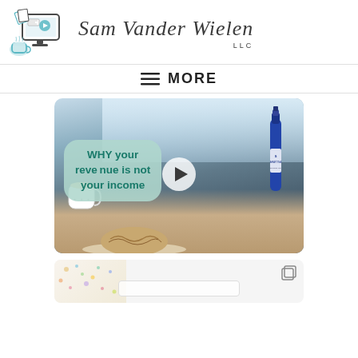[Figure (logo): Sam Vander Wielen LLC logo with illustrated computer monitor showing a play button, papers, and a coffee cup in teal/blue line art style, alongside cursive script brand name]
≡ MORE
[Figure (photo): Video thumbnail showing a cafe scene with coffee mug, pastry on plate, blue Saratoga water bottle on a table; overlay text bubble reading 'WHY your revenue is not your income' with a play button in the center]
[Figure (screenshot): Partial preview of another post card with dotted confetti pattern on left, copy icon top right, and a white search/input bar at bottom center]